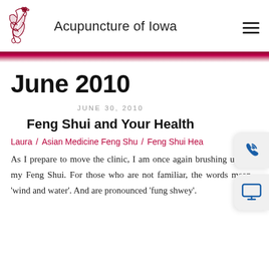Acupuncture of Iowa
June 2010
JUNE 30, 2010
Feng Shui and Your Health
Laura / Asian Medicine Feng Shu / Feng Shui Hea…
As I prepare to move the clinic, I am once again brushing up on my Feng Shui. For those who are not familiar, the words mean 'wind and water'. And are pronounced 'fung shwey'.